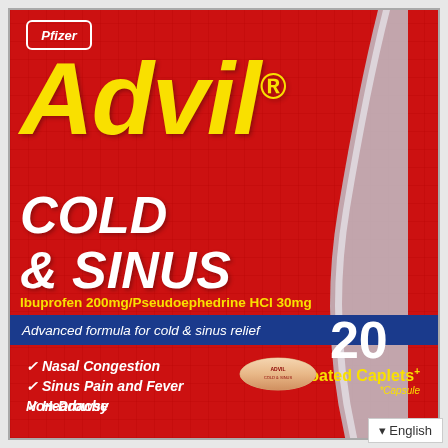[Figure (photo): Advil Cold & Sinus product packaging box. Red background with grid texture, curved silver swoosh on right side. Yellow Advil brand name at top, white Cold & Sinus text, yellow ibuprofen dosage text, blue banner with formula description, checkmark list of symptoms, caplet image, quantity 20 Coated Caplets, Pfizer logo top-left.]
Pfizer
Advil®
COLD & SINUS
Ibuprofen 200mg/Pseudoephedrine HCI 30mg
Advanced formula for cold & sinus relief
Nasal Congestion
Sinus Pain and Fever
Headache
Non-Drowsy
20 Coated Caplets+ *Capsule